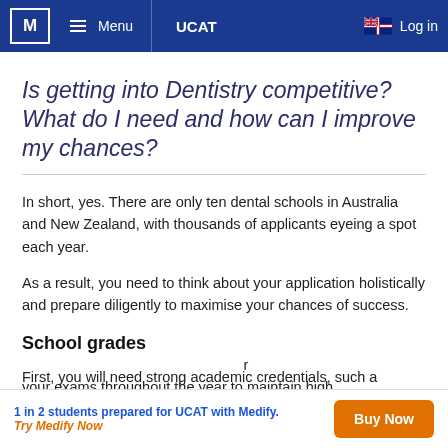M  Menu   UCAT   Log in
Is getting into Dentistry competitive? What do I need and how can I improve my chances?
In short, yes. There are only ten dental schools in Australia and New Zealand, with thousands of applicants eyeing a spot each year.
As a result, you need to think about your application holistically and prepare diligently to maximise your chances of success.
School grades
First, you will need strong academic credentials, such a... r your exams throughout the year to maintain high
1 in 2 students prepared for UCAT with Medify. Try Medify Now
Buy Now